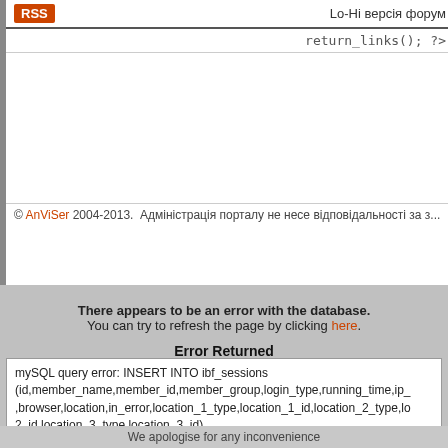RSS   Lo-Hi версія форум
return_links(); ?>
© AnViSer 2004-2013.  Адміністрація порталу не несе відповідальності за з...
There appears to be an error with the database. You can try to refresh the page by clicking here.
Error Returned
mySQL query error: INSERT INTO ibf_sessions
(id,member_name,member_id,member_group,login_type,running_time,ip_
,browser,location,in_error,location_1_type,location_1_id,location_2_type,lo
2_id,location_3_type,location_3_id)
VALUES('ee7adb3cd2dde07b16f4228a33c64788','',0,2,0,1661781767,'44.
149','Mozilla/5.0 (iPhone; CPU iPhone OS 11_0 like Mac OS X)
AppleWebKit/604.1.38 (KHTML, like Gecko) Version/11.0 Mobile/15A372
Safari/604.1','Help,,00',0,'','','','','')

SQL error: Incorrect integer value: '' for column 'location_1_id' at row 1
SQL error code:
Date: Monday 29th 2022f August 2022 05:02:47 PM
We apologise for any inconvenience